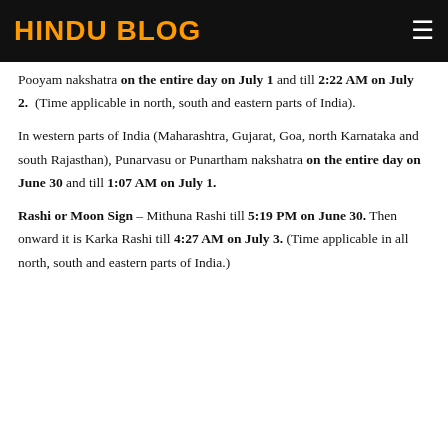HINDU BLOG
Pooyam nakshatra on the entire day on July 1 and till 2:22 AM on July 2. (Time applicable in north, south and eastern parts of India).
In western parts of India (Maharashtra, Gujarat, Goa, north Karnataka and south Rajasthan), Punarvasu or Punartham nakshatra on the entire day on June 30 and till 1:07 AM on July 1.
Rashi or Moon Sign – Mithuna Rashi till 5:19 PM on June 30. Then onward it is Karka Rashi till 4:27 AM on July 3. (Time applicable in all north, south and eastern parts of India.)